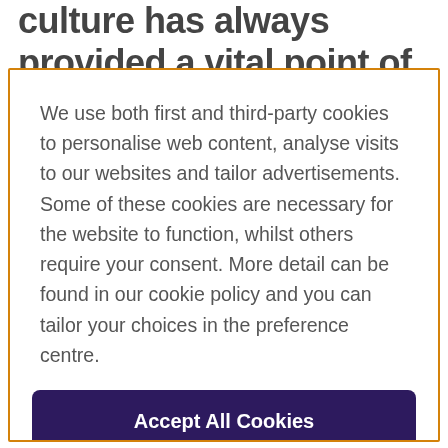culture has always provided a vital point of contact, with the UK viewed
We use both first and third-party cookies to personalise web content, analyse visits to our websites and tailor advertisements. Some of these cookies are necessary for the website to function, whilst others require your consent. More detail can be found in our cookie policy and you can tailor your choices in the preference centre.
Accept All Cookies
Cookies Settings